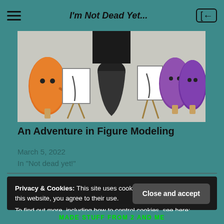I'm Not Dead Yet...
[Figure (illustration): Cartoon illustration showing anthropomorphic popsicle/capsule characters (orange and purple) painting at easels, with a dark draped figure in the center background]
An Adventure in Figure Modeling
March 5, 2022
In "Not dead yet!"
Privacy & Cookies: This site uses cookies. By continuing to use this website, you agree to their use.
To find out more, including how to control cookies, see here: Cookie Policy
MADE STUFF FROM 2 AND ME